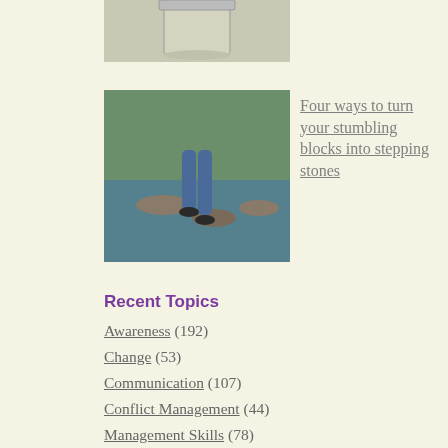[Figure (photo): Partial view of a bucket/pail at top of page]
[Figure (photo): Person stepping on stepping stones across water, wearing jeans]
Four ways to turn your stumbling blocks into stepping stones
Recent Topics
Awareness (192)
Change (53)
Communication (107)
Conflict Management (44)
Management Skills (78)
Personal growth (163)
Self-Care (107)
Team Development (64)
Thoughtful Leadership (446)